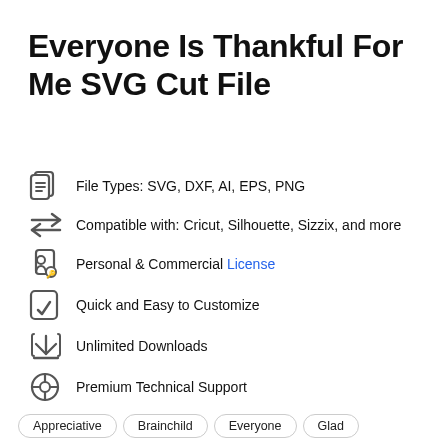Everyone Is Thankful For Me SVG Cut File
File Types: SVG, DXF, AI, EPS, PNG
Compatible with: Cricut, Silhouette, Sizzix, and more
Personal & Commercial License
Quick and Easy to Customize
Unlimited Downloads
Premium Technical Support
Appreciative   Brainchild   Everyone   Glad